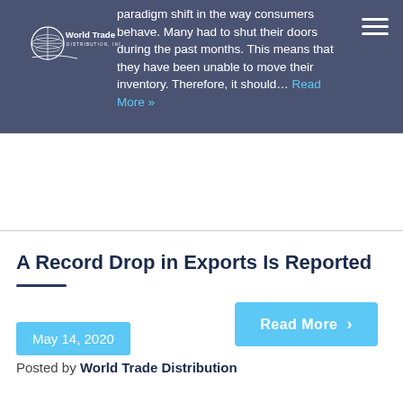World Trade Distribution, Inc. — navigation header with logo and hamburger menu
paradigm shift in the way consumers behave. Many had to shut their doors during the past months. This means that they have been unable to move their inventory. Therefore, it should… Read More »
Read More »
A Record Drop in Exports Is Reported
May 14, 2020
Posted by World Trade Distribution